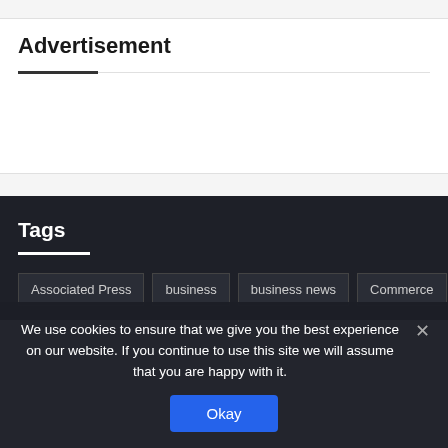Advertisement
Tags
Associated Press
business
business news
Commerce
We use cookies to ensure that we give you the best experience on our website. If you continue to use this site we will assume that you are happy with it.
Okay